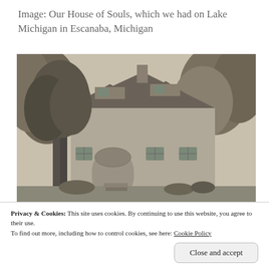Image: Our House of Souls, which we had on Lake Michigan in Escanaba, Michigan
[Figure (photo): Black and white photograph of a two-story house with a steep gabled roof, a central chimney, dormers, an arched porch entrance, multiple windows, and large trees in front and around the house.]
Privacy & Cookies: This site uses cookies. By continuing to use this website, you agree to their use.
To find out more, including how to control cookies, see here: Cookie Policy
Close and accept